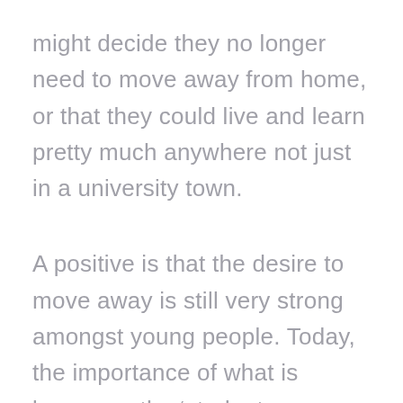might decide they no longer need to move away from home, or that they could live and learn pretty much anywhere not just in a university town.
A positive is that the desire to move away is still very strong amongst young people. Today, the importance of what is known as the ‘student experience’ can’t be underestimated.